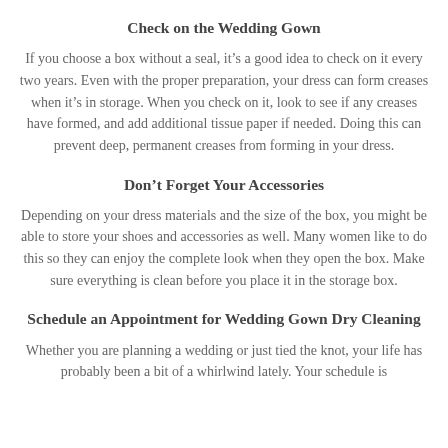Check on the Wedding Gown
If you choose a box without a seal, it's a good idea to check on it every two years. Even with the proper preparation, your dress can form creases when it's in storage. When you check on it, look to see if any creases have formed, and add additional tissue paper if needed. Doing this can prevent deep, permanent creases from forming in your dress.
Don't Forget Your Accessories
Depending on your dress materials and the size of the box, you might be able to store your shoes and accessories as well. Many women like to do this so they can enjoy the complete look when they open the box. Make sure everything is clean before you place it in the storage box.
Schedule an Appointment for Wedding Gown Dry Cleaning
Whether you are planning a wedding or just tied the knot, your life has probably been a bit of a whirlwind lately. Your schedule is